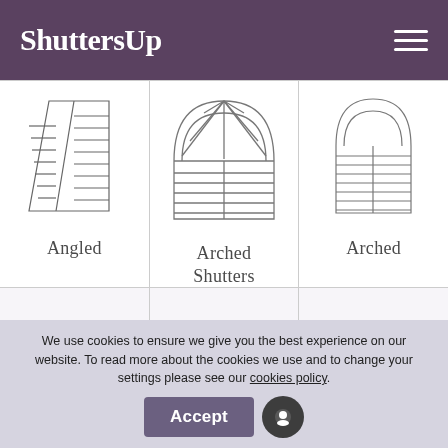ShuttersUp
[Figure (illustration): Line drawing of angled/slanted shutter panel]
[Figure (illustration): Line drawing of arched shutters with fanlight top and two-panel body]
[Figure (illustration): Line drawing of arched shutters with rounded top]
Angled
Arched Shutters
Arched
We use cookies to ensure we give you the best experience on our website. To read more about the cookies we use and to change your settings please see our cookies policy.